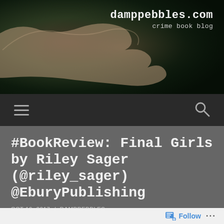[Figure (photo): Dark nature background with a hand silhouette pointing or gesturing, overlaid with website name 'damppebbles.com' and tagline 'crime book blog' in monospace font]
damppebbles.com
crime book blog
[Figure (screenshot): Dark navigation bar with hamburger menu icon on left and magnifying glass search icon on right]
#BookReview: Final Girls by Riley Sager (@riley_sager) @EburyPublishing
OCT 19, 2017 / DAMPPEBBLES
[Figure (screenshot): Bottom WordPress follow bar with follow button icon and ellipsis menu]